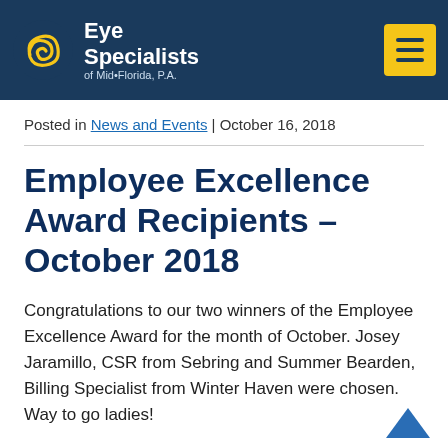Eye Specialists of Mid·Florida, P.A.
Posted in News and Events | October 16, 2018
Employee Excellence Award Recipients – October 2018
Congratulations to our two winners of the Employee Excellence Award for the month of October. Josey Jaramillo, CSR from Sebring and Summer Bearden, Billing Specialist from Winter Haven were chosen.  Way to go ladies!